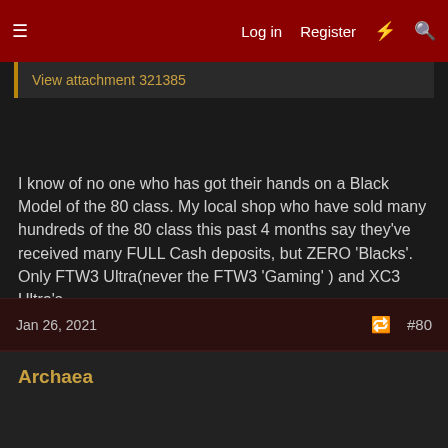Log in  Register  #80
View attachment 321385
I know of no one who has got their hands on a Black Model of the 80 class. My local shop who have sold many hundreds of the 80 class this past 4 months say they've received many FULL Cash deposits, but ZERO 'Blacks'. Only FTW3 Ultra(never the FTW3 'Gaming' ) and XC3 Ultra's.
I had to pony up the full cash deposit at my local computer shop and wait 3 weeks before they called me to pick it up,back on Sept 17th at 10 am ,in person only they said.
Jan 26, 2021  #80
Archaea